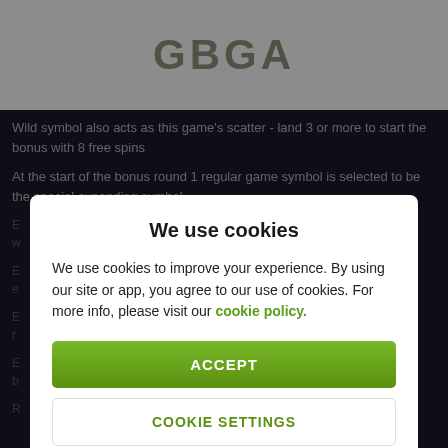[Figure (logo): GBGA logo in grey/olive color on white background]
Wild symbol also acts as this game's scatter - land 3 or more to start the bonus with 8 free spins
At the start of the bonus round 1 regular game symbol is selected to be the special expanding symbol
We use cookies
We use cookies to improve your experience. By using our site or app, you agree to our use of cookies. For more info, please visit our cookie policy.
ACCEPT
COOKIE SETTINGS